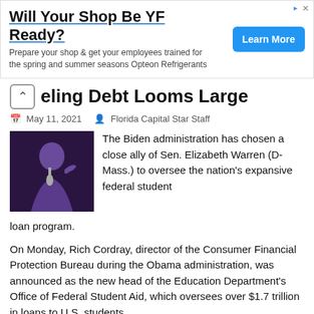[Figure (other): Advertisement banner: 'Will Your Shop Be YF Ready?' with Learn More button for Opteon Refrigerants]
eling Debt Looms Large
May 11, 2021   Florida Capital Star Staff
[Figure (photo): Photo of Sen. Elizabeth Warren speaking into a microphone]
The Biden administration has chosen a close ally of Sen. Elizabeth Warren (D-Mass.) to oversee the nation's expansive federal student loan program.
On Monday, Rich Cordray, director of the Consumer Financial Protection Bureau during the Obama administration, was announced as the new head of the Education Department's Office of Federal Student Aid, which oversees over $1.7 trillion in loans to U.S. students.
In a statement following his appointment, Cordray said he sought to "create more pathways for students to graduate and